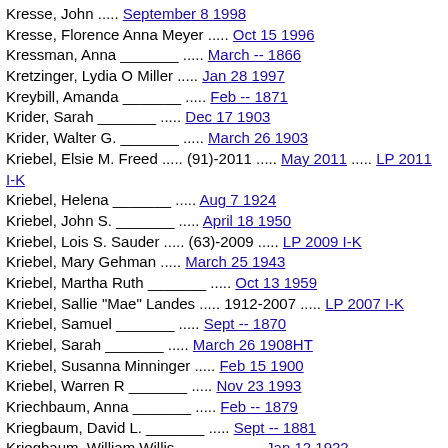Kresse, John ..... September 8 1998
Kresse, Florence Anna Meyer ..... Oct 15 1996
Kressman, Anna _______ ..... March -- 1866
Kretzinger, Lydia O Miller ..... Jan 28 1997
Kreybill, Amanda _______ ..... Feb -- 1871
Krider, Sarah _______ ..... Dec 17 1903
Krider, Walter G. _______ ..... March 26 1903
Kriebel, Elsie M. Freed ..... (91)-2011 ..... May 2011 ..... LP 2011 I-K
Kriebel, Helena _______ ..... Aug 7 1924
Kriebel, John S. _______ ..... April 18 1950
Kriebel, Lois S. Sauder ..... (63)-2009 ..... LP 2009 I-K
Kriebel, Mary Gehman ..... March 25 1943
Kriebel, Martha Ruth _______ ..... Oct 13 1959
Kriebel, Sallie "Mae" Landes ..... 1912-2007 ..... LP 2007 I-K
Kriebel, Samuel _______ ..... Sept -- 1870
Kriebel, Sarah _______ ..... March 26 1908HT
Kriebel, Susanna Minninger ..... Feb 15 1900
Kriebel, Warren R _______ ..... Nov 23 1993
Kriechbaum, Anna _______ ..... Feb -- 1879
Kriegbaum, David L. _______ ..... Sept -- 1881
Kriegbaum, William Willis _______ ..... Jan 12 1922
Kriner, Regina Davis ..... November 10 1998
Krodker, Deloris Janzen ..... (69)-2004 ..... April 6, 2004
Kroeker, Anna Wiebe ..... (89)-2002 .... Dec. 24, 2002